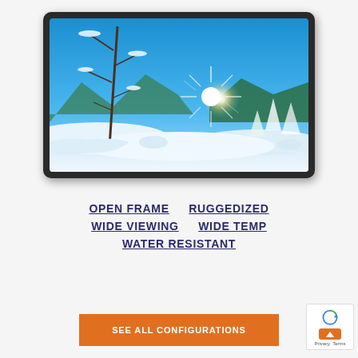[Figure (photo): Rugged display monitor with dark frame showing a winter landscape scene with snow, trees, bright sun, and blue sky on screen]
OPEN FRAME
RUGGEDIZED
WIDE VIEWING
WIDE TEMP
WATER RESISTANT
SEE ALL CONFIGURATIONS